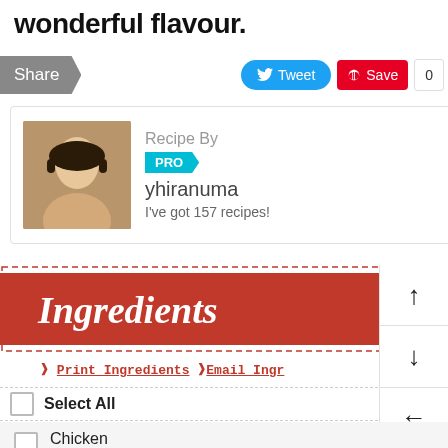wonderful flavour.
[Figure (screenshot): Share bar with Share button, Tweet button, Save button, and count 0]
[Figure (photo): Author profile card with photo, 'Recipe By', PRO badge, username yhiranuma, and I've got 157 recipes!]
[Figure (illustration): Step into My Kitchen! animated sticker with chef character]
Ingredients
Print Ingredients  Email Ingr
Select All
Chicken breast fillet  1